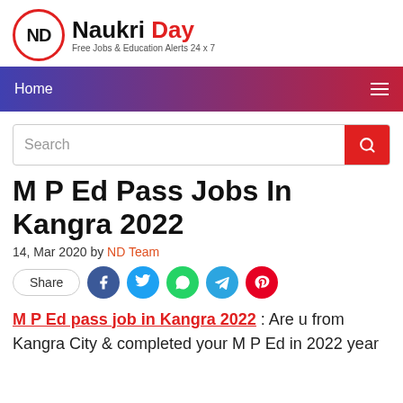[Figure (logo): Naukri Day logo with red circle ND icon and text 'Naukri Day - Free Jobs & Education Alerts 24 x 7']
Home
Search
M P Ed Pass Jobs In Kangra 2022
14, Mar 2020 by ND Team
[Figure (infographic): Social share buttons: Share, Facebook, Twitter, WhatsApp, Telegram, Pinterest]
M P Ed pass job in Kangra 2022 : Are u from Kangra City & completed your M P Ed in 2022 year